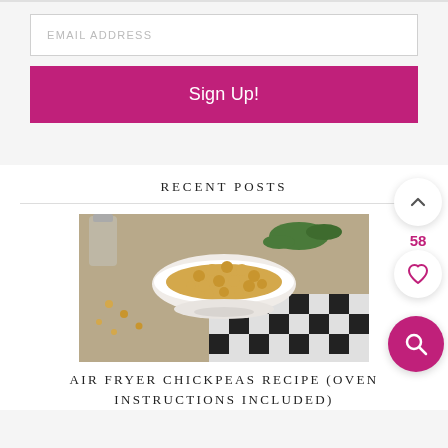EMAIL ADDRESS
Sign Up!
RECENT POSTS
[Figure (photo): A white bowl filled with roasted air fryer chickpeas on a black and white checkered cloth, with herbs and spices in the background.]
AIR FRYER CHICKPEAS RECIPE (OVEN INSTRUCTIONS INCLUDED)